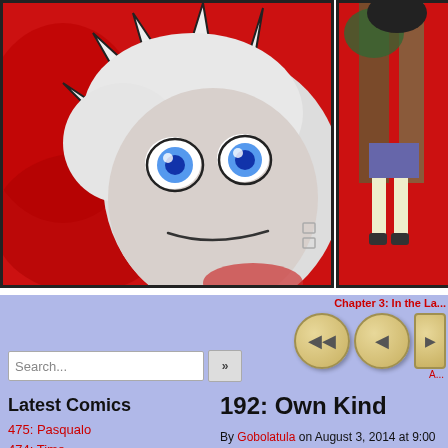[Figure (illustration): Webcomic page showing two panels. Left panel: close-up of an anime-style character face with white/silver spiky hair, blue eyes, on a red background. Right panel (partially cropped): anime-style character with dark hair, grey skirt, on a red background.]
Chapter 3: In the La...
[Figure (other): Navigation buttons: rewind and back arrow circular gold buttons, and a partially visible third button]
A...
Search...
Latest Comics
475: Pasqualo
474: Time
192: Own Kind
By Gobolatula on August 3, 2014 at 9:00 p...
Chapter: Chapter 3: In the Lair of the Zom...